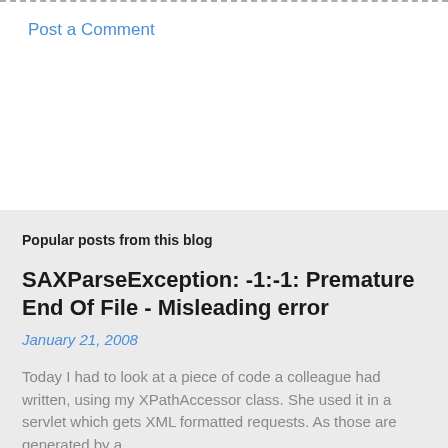Post a Comment
Popular posts from this blog
SAXParseException: -1:-1: Premature End Of File - Misleading error
January 21, 2008
Today I had to look at a piece of code a colleague had written, using my XPathAccessor class. She used it in a servlet which gets XML formatted requests. As those are generated by a …
READ MORE
Amiga 500 Restoration: A501 Memory